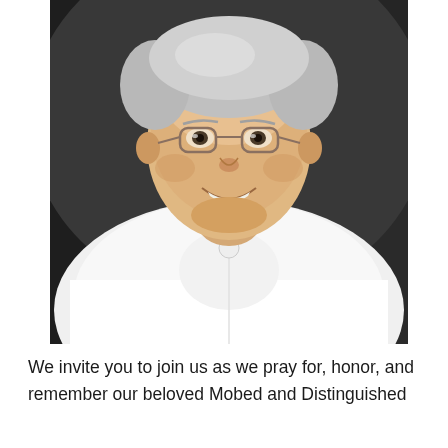[Figure (photo): Portrait photograph of an elderly man wearing glasses and a white traditional garment (kurta/dagli), smiling warmly. He has grey/white hair and is photographed against a dark background.]
We invite you to join us as we pray for, honor, and remember our beloved Mobed and Distinguished